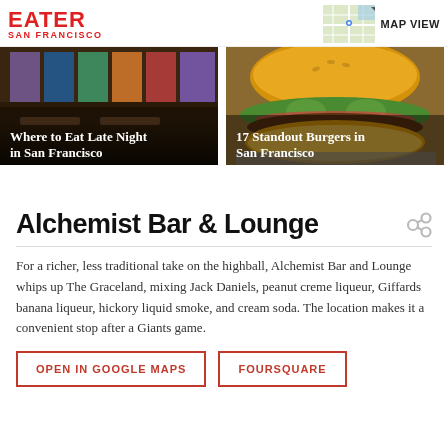EATER SAN FRANCISCO
[Figure (photo): Restaurant interior with colorful artwork and bar seating, with text overlay 'Where to Eat Late Night in San Francisco']
[Figure (photo): Close-up photo of a burger with lettuce, with text overlay '17 Standout Burgers in San Francisco']
Alchemist Bar & Lounge
For a richer, less traditional take on the highball, Alchemist Bar and Lounge whips up The Graceland, mixing Jack Daniels, peanut creme liqueur, Giffards banana liqueur, hickory liquid smoke, and cream soda. The location makes it a convenient stop after a Giants game.
OPEN IN GOOGLE MAPS
FOURSQUARE